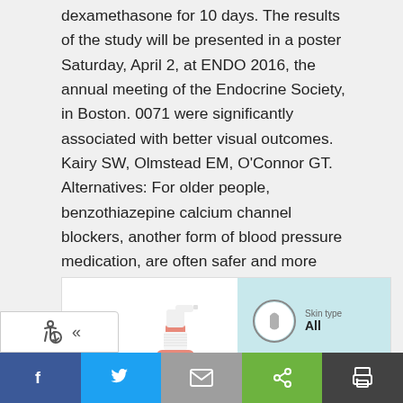dexamethasone for 10 days. The results of the study will be presented in a poster Saturday, April 2, at ENDO 2016, the annual meeting of the Endocrine Society, in Boston. 0071 were significantly associated with better visual outcomes. Kairy SW, Olmstead EM, O'Connor GT. Alternatives: For older people, benzothiazepine calcium channel blockers, another form of blood pressure medication, are often safer and more effective than beta blockers.
[Figure (photo): Product photo of a pink spray bottle on white background, with a light blue panel on the right showing a skin type icon (circle with hand/leaf icon) labeled 'Skin type All', a scent icon, and a teal share button. Below is a social media sharing toolbar.]